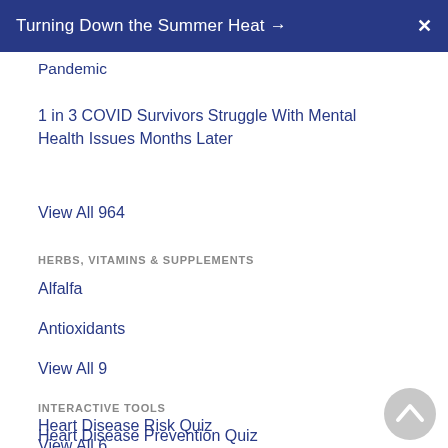Turning Down the Summer Heat →  X
Pandemic
1 in 3 COVID Survivors Struggle With Mental Health Issues Months Later
View All 964
HERBS, VITAMINS & SUPPLEMENTS
Alfalfa
Antioxidants
View All 9
INTERACTIVE TOOLS
Heart Disease Prevention Quiz
Heart Disease Risk Quiz
View All 6